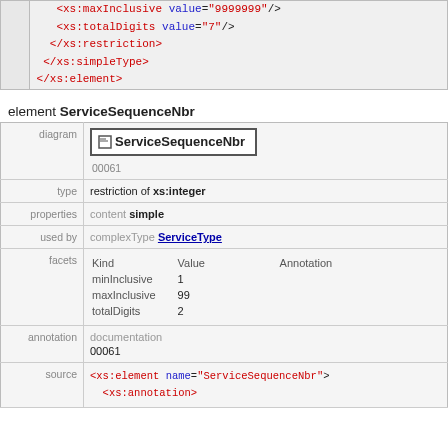|  | code |
| --- | --- |
|  | <xs:maxInclusive value="9999999"/>
<xs:totalDigits value="7"/>
</xs:restriction>
</xs:simpleType>
</xs:element> |
element ServiceSequenceNbr
| row-label | value |
| --- | --- |
| diagram | ServiceSequenceNbr
00061 |
| type | restriction of xs:integer |
| properties | content simple |
| used by | complexType ServiceType |
| facets | Kind Value Annotation
minInclusive 1
maxInclusive 99
totalDigits 2 |
| annotation | documentation
00061 |
| source | <xs:element name="ServiceSequenceNbr">
<xs:annotation> |